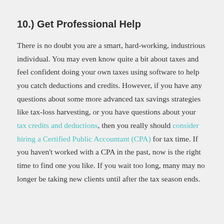10.) Get Professional Help
There is no doubt you are a smart, hard-working, industrious individual. You may even know quite a bit about taxes and feel confident doing your own taxes using software to help you catch deductions and credits. However, if you have any questions about some more advanced tax savings strategies like tax-loss harvesting, or you have questions about your tax credits and deductions, then you really should consider hiring a Certified Public Accountant (CPA) for tax time. If you haven't worked with a CPA in the past, now is the right time to find one you like. If you wait too long, many may no longer be taking new clients until after the tax season ends.